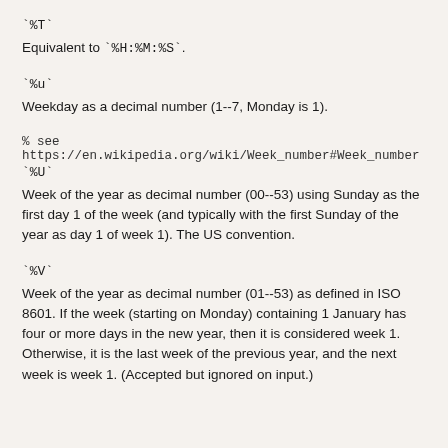`%T`
Equivalent to `%H:%M:%S`.
`%u`
Weekday as a decimal number (1--7, Monday is 1).
% see https://en.wikipedia.org/wiki/Week_number#Week_number
`%U`
Week of the year as decimal number (00--53) using Sunday as the first day 1 of the week (and typically with the first Sunday of the year as day 1 of week 1). The US convention.
`%V`
Week of the year as decimal number (01--53) as defined in ISO 8601. If the week (starting on Monday) containing 1 January has four or more days in the new year, then it is considered week 1. Otherwise, it is the last week of the previous year, and the next week is week 1. (Accepted but ignored on input.)